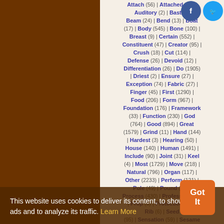Attach (56) | Attached (36) | Auditory (2) | Bastion | Beam (24) | Bend (13) | Boat (17) | Body (545) | Bone (100) | Breast (9) | Certain (552) | Constituent (47) | Creator (95) | Crush (18) | Cut (114) | Defense (26) | Devoid (12) | Differentiation (26) | Do (1905) | Driest (2) | Ensure (27) | Exception (74) | Fabric (27) | Finger (45) | First (1290) | Food (206) | Form (967) | Foundation (176) | Framework (33) | Function (230) | God (764) | Good (894) | Great (1579) | Grind (11) | Hand (144) | Hardest (3) | Hearing (50) | House (140) | Human (1491) | Include (90) | Joint (31) | Keel (4) | Most (1729) | Move (218) | Natural (796) | Organ (117) | Other (2233) | Perform (121) | Pole (49) | Pound (14) | Process (430) | Professor (129) | Prop (6) | Protection (39) | Rib (6) | Seed | (95) | Sensation (59) | Sesame | (27) | Size (81) | Skull (5) | Stiffication (7) | Spine (9) | Stand (277) | Strength (130) | Substance (252) | Teeth (43)
This website uses cookies to deliver its content, to show relevant ads and to analyze its traffic. Learn More